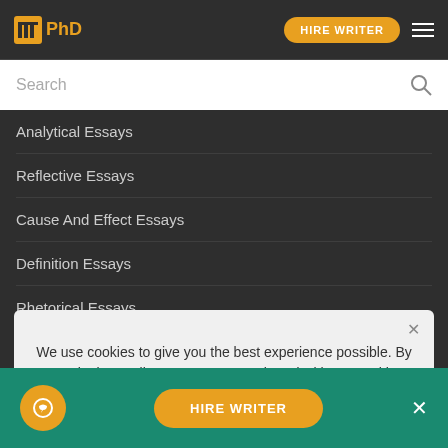[Figure (logo): EduPhD logo with orange icon and text]
HIRE WRITER
Search
Analytical Essays
Reflective Essays
Cause And Effect Essays
Definition Essays
Rhetorical Essays
Comparison And Contrast Essays
Evaluation Essays
Research Paper Essays
We use cookies to give you the best experience possible. By continuing we'll assume you're on board with our cookie policy
HIRE WRITER